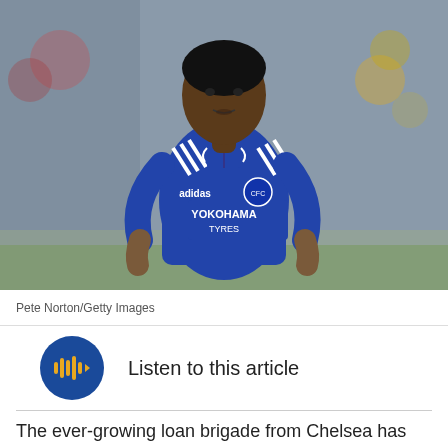[Figure (photo): A footballer wearing a blue Chelsea FC kit with Yokohama Tyres sponsor, photographed during a match. The player is a young Black man with short hair, looking to the side. Background shows a blurred stadium crowd.]
Pete Norton/Getty Images
Listen to this article
The ever-growing loan brigade from Chelsea has seen a number of different places and also experimented